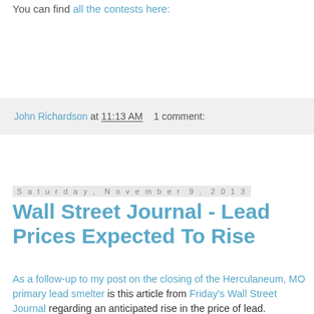You can find all the contests here:
John Richardson at 11:13 AM   1 comment:
Saturday, November 9, 2013
Wall Street Journal - Lead Prices Expected To Rise
As a follow-up to my post on the closing of the Herculaneum, MO primary lead smelter is this article from Friday's Wall Street Journal regarding an anticipated rise in the price of lead.
Bullish investors are hoping for a repeat of last year's rally, when lead prices soared by 17% between late October and early February.
Some money managers say gains could be even